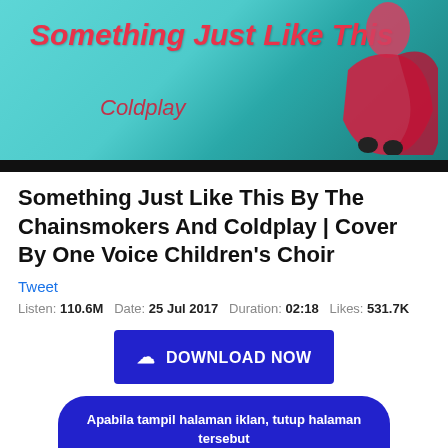[Figure (illustration): Banner image with teal/turquoise background, bold italic red title 'Something Just Like This', artist name 'Coldplay' in dark red italic, and a partial figure in red clothing on the right side]
Something Just Like This By The Chainsmokers And Coldplay | Cover By One Voice Children's Choir
Tweet
Listen: 110.6M   Date: 25 Jul 2017   Duration: 02:18   Likes: 531.7K
DOWNLOAD NOW
Apabila tampil halaman iklan, tutup halaman tersebut Lalu klik kembali Tombol DOWNLOAD MP3☺
Description: